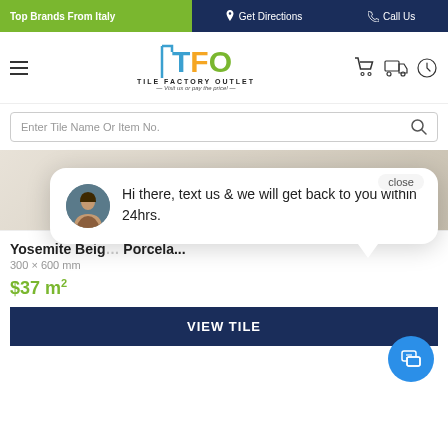Top Brands From Italy | Get Directions | Call Us
[Figure (logo): TFO Tile Factory Outlet logo with hamburger menu and nav icons]
Enter Tile Name Or Item No.
[Figure (screenshot): Hero background image of tiles in beige/stone tones]
close
Hi there, text us & we will get back to you within 24hrs.
Yosemite Beige Porcela...
300 × 600 mm
$37 m²
VIEW TILE